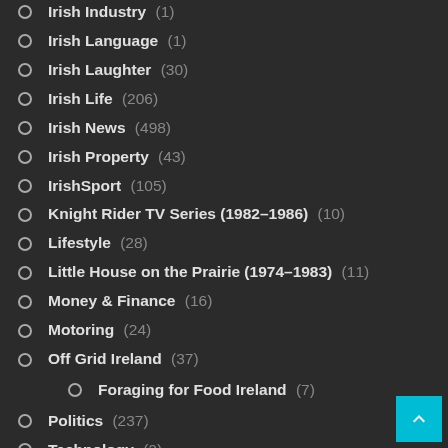Irish Industry (1)
Irish Language (1)
Irish Laughter (30)
Irish Life (206)
Irish News (498)
Irish Property (43)
IrishSport (105)
Knight Rider TV Series (1982–1986) (10)
Lifestyle (28)
Little House on the Prairie (1974–1983) (11)
Money & Finance (16)
Motoring (24)
Off Grid Ireland (37)
Foraging for Food Ireland (7)
Politics (237)
Technology (2)
The Dukes of Hazzard – TV Series (1979–1985)
The Fall Guy TV Series (1981–1986) (9)